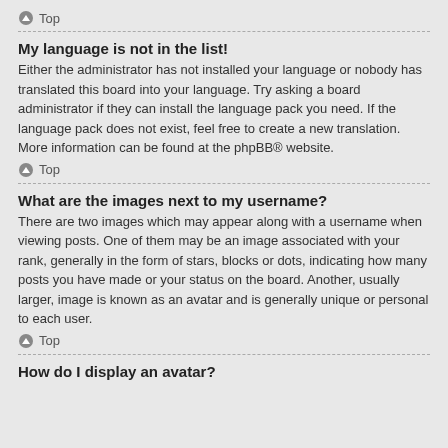Top
My language is not in the list!
Either the administrator has not installed your language or nobody has translated this board into your language. Try asking a board administrator if they can install the language pack you need. If the language pack does not exist, feel free to create a new translation. More information can be found at the phpBB® website.
Top
What are the images next to my username?
There are two images which may appear along with a username when viewing posts. One of them may be an image associated with your rank, generally in the form of stars, blocks or dots, indicating how many posts you have made or your status on the board. Another, usually larger, image is known as an avatar and is generally unique or personal to each user.
Top
How do I display an avatar?